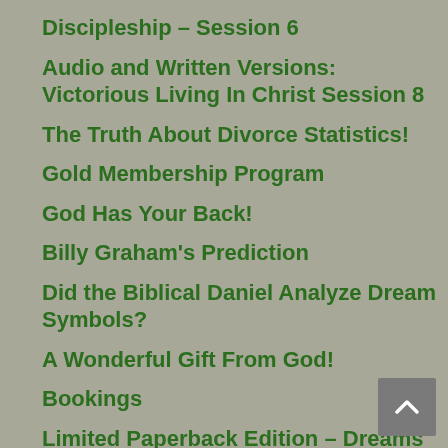Discipleship – Session 6
Audio and Written Versions: Victorious Living In Christ Session 8
The Truth About Divorce Statistics!
Gold Membership Program
God Has Your Back!
Billy Graham's Prediction
Did the Biblical Daniel Analyze Dream Symbols?
A Wonderful Gift From God!
Bookings
Limited Paperback Edition – Dreams Dictionary
The Golden Key! Correct Dreams Interpretation
Opposites And Contradictions in Dreams